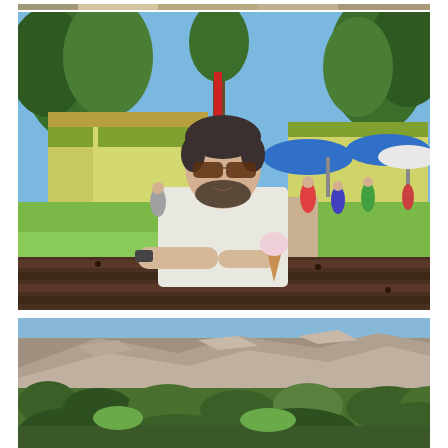[Figure (photo): Partial top strip of a photo, cropped at top of page — appears to be the bottom edge of a previous photo showing some outdoor scene.]
[Figure (photo): A man with sunglasses and a beard wearing a white t-shirt sits at a dark wooden picnic table holding an ice cream cone. Behind him is a park or outdoor recreation area with yellow-green buildings, a red pole, blue umbrellas, trees, and people in the background. Sunny summer day.]
[Figure (photo): A landscape photo of a rocky hillside with sparse vegetation, scrub bushes, and trees in the foreground. Rocky outcrops and cliffs visible in the background under a blue sky.]